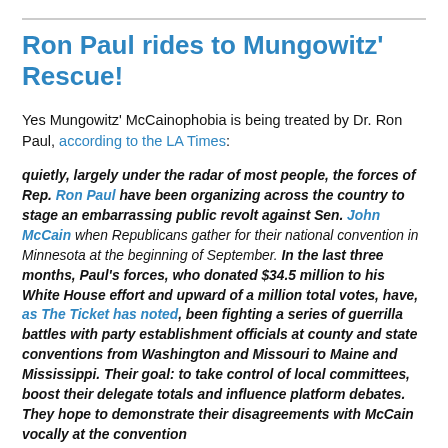Ron Paul rides to Mungowitz' Rescue!
Yes Mungowitz' McCainophobia is being treated by Dr. Ron Paul, according to the LA Times:
quietly, largely under the radar of most people, the forces of Rep. Ron Paul have been organizing across the country to stage an embarrassing public revolt against Sen. John McCain when Republicans gather for their national convention in Minnesota at the beginning of September. In the last three months, Paul's forces, who donated $34.5 million to his White House effort and upward of a million total votes, have, as The Ticket has noted, been fighting a series of guerrilla battles with party establishment officials at county and state conventions from Washington and Missouri to Maine and Mississippi. Their goal: to take control of local committees, boost their delegate totals and influence platform debates. They hope to demonstrate their disagreements with McCain vocally at the convention